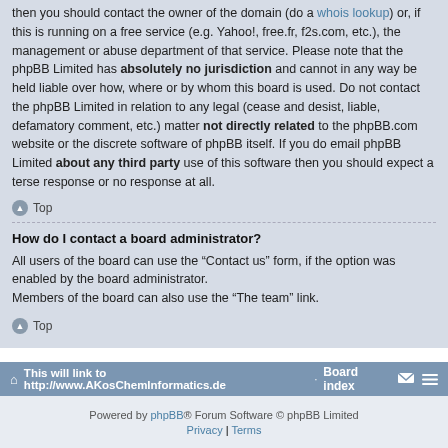then you should contact the owner of the domain (do a whois lookup) or, if this is running on a free service (e.g. Yahoo!, free.fr, f2s.com, etc.), the management or abuse department of that service. Please note that the phpBB Limited has absolutely no jurisdiction and cannot in any way be held liable over how, where or by whom this board is used. Do not contact the phpBB Limited in relation to any legal (cease and desist, liable, defamatory comment, etc.) matter not directly related to the phpBB.com website or the discrete software of phpBB itself. If you do email phpBB Limited about any third party use of this software then you should expect a terse response or no response at all.
Top
How do I contact a board administrator?
All users of the board can use the “Contact us” form, if the option was enabled by the board administrator.
Members of the board can also use the “The team” link.
Top
This will link to http://www.AKosChemInformatics.de · Board index
Powered by phpBB® Forum Software © phpBB Limited Privacy | Terms